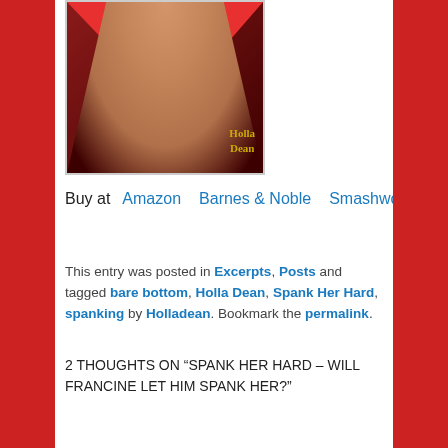[Figure (photo): Book cover for 'Spank Her Hard' by Holla Dean, showing a dark background with red garment and the author name in yellow text]
Buy at   Amazon   Barnes & Noble   Smashwords
This entry was posted in Excerpts, Posts and tagged bare bottom, Holla Dean, Spank Her Hard, spanking by Holladean. Bookmark the permalink.
2 THOUGHTS ON "SPANK HER HARD – WILL FRANCINE LET HIM SPANK HER?"